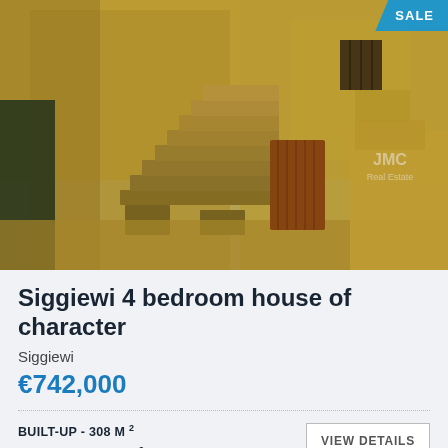[Figure (photo): Exterior courtyard of an old stone character house in Siggiewi, Malta, showing weathered yellow limestone walls, stone staircase, and a wooden door. A 'SALE' badge is visible in the top-right corner with 'JMC Real Estate' watermark.]
Siggiewi 4 bedroom house of character
Siggiewi
€742,000
BUILT-UP - 308 M 2
LAND SIZE - 308 M 2
VIEW DETAILS